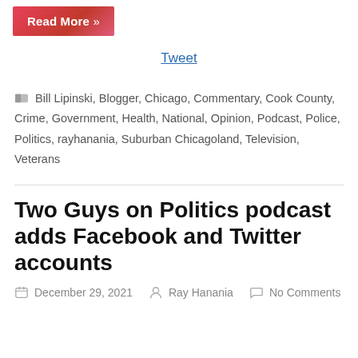[Figure (other): Read More button with pink/red gradient background and white bold text]
Tweet
Bill Lipinski, Blogger, Chicago, Commentary, Cook County, Crime, Government, Health, National, Opinion, Podcast, Police, Politics, rayhanania, Suburban Chicagoland, Television, Veterans
Two Guys on Politics podcast adds Facebook and Twitter accounts
December 29, 2021  Ray Hanania  No Comments